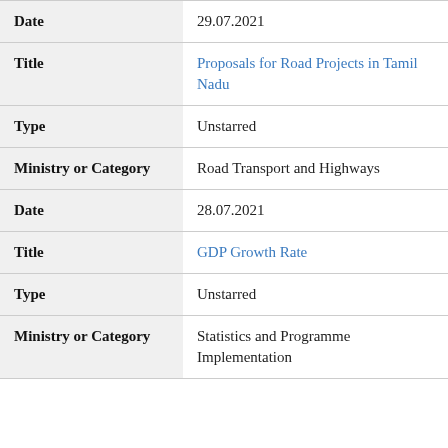| Field | Value |
| --- | --- |
| Date | 29.07.2021 |
| Title | Proposals for Road Projects in Tamil Nadu |
| Type | Unstarred |
| Ministry or Category | Road Transport and Highways |
| Date | 28.07.2021 |
| Title | GDP Growth Rate |
| Type | Unstarred |
| Ministry or Category | Statistics and Programme Implementation |